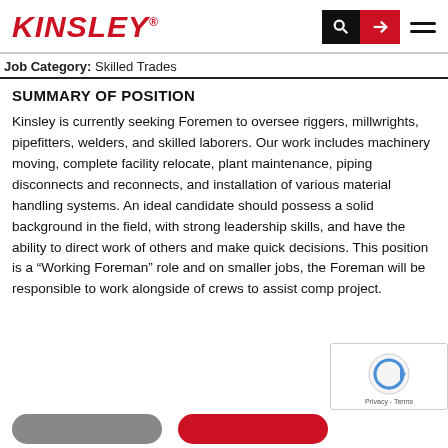KINSLEY
Job Category: Skilled Trades
SUMMARY OF POSITION
Kinsley is currently seeking Foremen to oversee riggers, millwrights, pipefitters, welders, and skilled laborers. Our work includes machinery moving, complete facility relocate, plant maintenance, piping disconnects and reconnects, and installation of various material handling systems. An ideal candidate should possess a solid background in the field, with strong leadership skills, and have the ability to direct work of others and make quick decisions. This position is a “Working Foreman” role and on smaller jobs, the Foreman will be responsible to work alongside of crews to assist comp project.
[Figure (other): reCAPTCHA widget overlay showing logo and Privacy - Terms text]